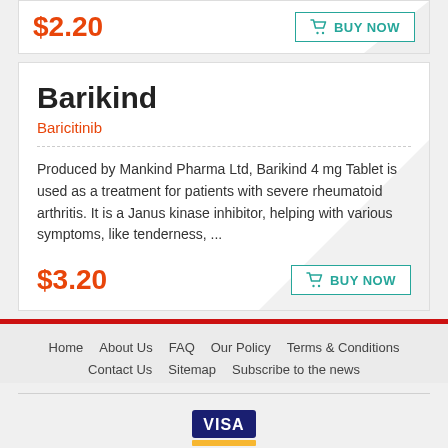$2.20
BUY NOW
Barikind
Baricitinib
Produced by Mankind Pharma Ltd, Barikind 4 mg Tablet is used as a treatment for patients with severe rheumatoid arthritis. It is a Janus kinase inhibitor, helping with various symptoms, like tenderness, ...
$3.20
BUY NOW
Home   About Us   FAQ   Our Policy   Terms & Conditions   Contact Us   Sitemap   Subscribe to the news
[Figure (logo): VISA credit card logo]
Copyright © thegoodpillsstore.com. All rights reserved